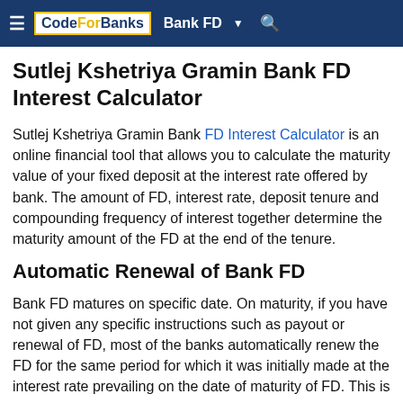CodeForBanks  Bank FD ▼  🔍
Sutlej Kshetriya Gramin Bank FD Interest Calculator
Sutlej Kshetriya Gramin Bank FD Interest Calculator is an online financial tool that allows you to calculate the maturity value of your fixed deposit at the interest rate offered by bank. The amount of FD, interest rate, deposit tenure and compounding frequency of interest together determine the maturity amount of the FD at the end of the tenure.
Automatic Renewal of Bank FD
Bank FD matures on specific date. On maturity, if you have not given any specific instructions such as payout or renewal of FD, most of the banks automatically renew the FD for the same period for which it was initially made at the interest rate prevailing on the date of maturity of FD. This is